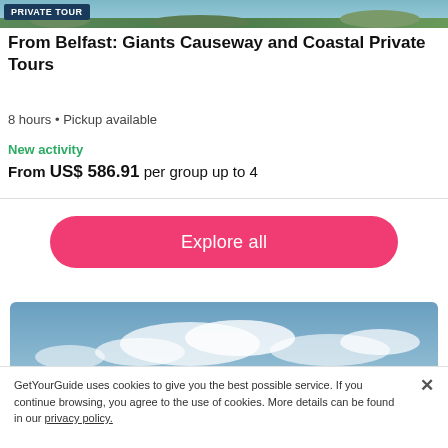[Figure (photo): Aerial coastal landscape photo used as page header image strip]
PRIVATE TOUR
From Belfast: Giants Causeway and Coastal Private Tours
8 hours • Pickup available
New activity
From US$ 586.91 per group up to 4
Explore all
[Figure (photo): Cloudy sky landscape photo at the bottom of the listing card]
GetYourGuide uses cookies to give you the best possible service. If you continue browsing, you agree to the use of cookies. More details can be found in our privacy policy.